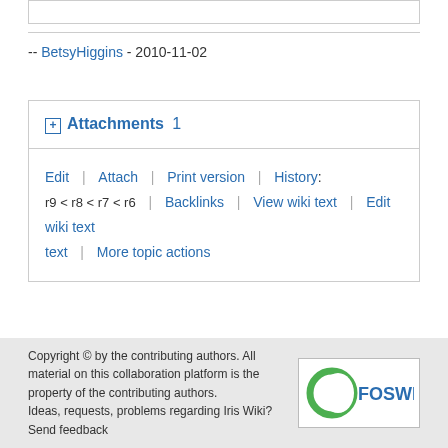-- BetsyHiggins - 2010-11-02
Attachments 1
Edit | Attach | Print version | History: r9 < r8 < r7 < r6 | Backlinks | View wiki text | Edit wiki text | More topic actions
Copyright © by the contributing authors. All material on this collaboration platform is the property of the contributing authors. Ideas, requests, problems regarding Iris Wiki? Send feedback